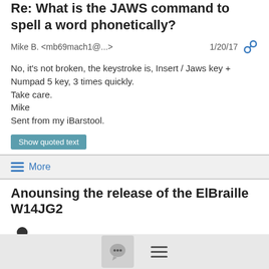Re: What is the JAWS command to spell a word phonetically?
Mike B. <mb69mach1@...>  1/20/17
No, it's not broken, the keystroke is, Insert / Jaws key + Numpad 5 key, 3 times quickly.
Take care.
Mike
Sent from my iBarstool.
Show quoted text
≡ More
Anounsing the release of the ElBraille W14JG2
Adi Kushnir  1/20/17
Hello,